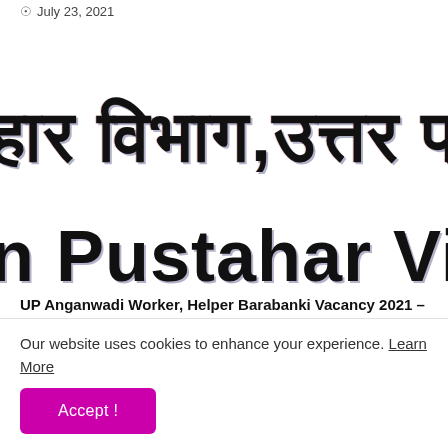July 23, 2021
[Figure (screenshot): Cropped image of a Hindi and English text banner showing partial text 'हार विभाग,उत्तर प्र' in Hindi and 'n Pustahar Vi' in English/Roman script, appearing blurred/chromatic-aberration style]
UP Anganwadi Worker, Helper Barabanki Vacancy 2021 – Notification For Total 707 Post
Our website uses cookies to enhance your experience. Learn More
Accept!